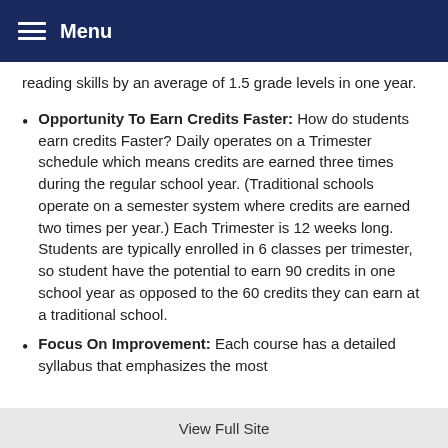Menu
reading skills by an average of 1.5 grade levels in one year.
Opportunity To Earn Credits Faster: How do students earn credits Faster? Daily operates on a Trimester schedule which means credits are earned three times during the regular school year. (Traditional schools operate on a semester system where credits are earned two times per year.) Each Trimester is 12 weeks long. Students are typically enrolled in 6 classes per trimester, so student have the potential to earn 90 credits in one school year as opposed to the 60 credits they can earn at a traditional school.
Focus On Improvement: Each course has a detailed syllabus that emphasizes the most
View Full Site